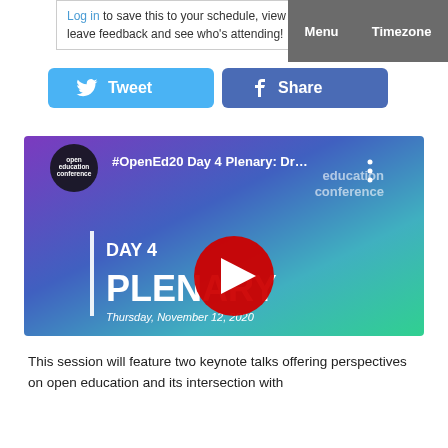Log in to save this to your schedule, view media, leave feedback and see who's attending!
Menu  Timezone
[Figure (other): Tweet button (Twitter/X) and Share button (Facebook)]
[Figure (screenshot): YouTube video thumbnail: #OpenEd20 Day 4 Plenary: Dr... - DAY 4 PLENARY, Thursday, November 12, 2020, Open Education Conference branding with purple-to-green gradient background and YouTube play button]
This session will feature two keynote talks offering perspectives on open education and its intersection with